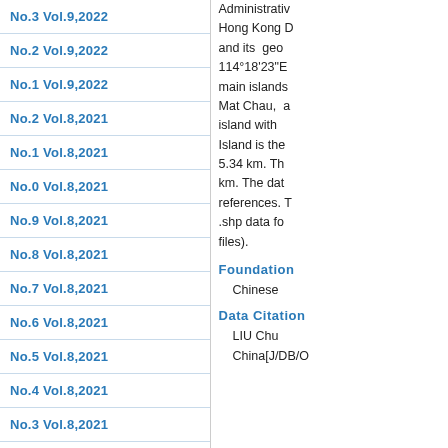No.3 Vol.9,2022
No.2 Vol.9,2022
No.1 Vol.9,2022
No.2 Vol.8,2021
No.1 Vol.8,2021
No.0 Vol.8,2021
No.9 Vol.8,2021
No.8 Vol.8,2021
No.7 Vol.8,2021
No.6 Vol.8,2021
No.5 Vol.8,2021
No.4 Vol.8,2021
No.3 Vol.8,2021
No.2 Vol.8,2021
Administrative Region of China. Hong Kong D... and its geo... 114°18'23"E main islands... Mat Chau, a... island with ... Island is the... 5.34 km. Th... km. The dat... references. T... .shp data fo... files).
Foundation
Chinese
Data Citation
LIU Chu... China[J/DB/O...